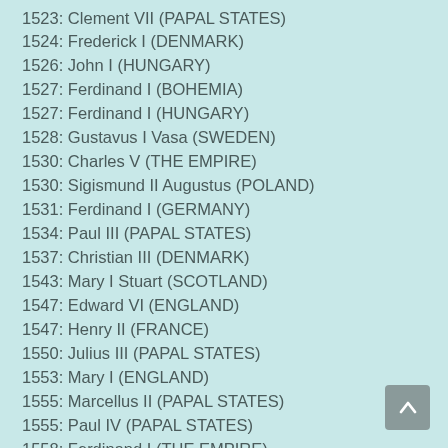1523: Clement VII (PAPAL STATES)
1524: Frederick I (DENMARK)
1526: John I (HUNGARY)
1527: Ferdinand I (BOHEMIA)
1527: Ferdinand I (HUNGARY)
1528: Gustavus I Vasa (SWEDEN)
1530: Charles V (THE EMPIRE)
1530: Sigismund II Augustus (POLAND)
1531: Ferdinand I (GERMANY)
1534: Paul III (PAPAL STATES)
1537: Christian III (DENMARK)
1543: Mary I Stuart (SCOTLAND)
1547: Edward VI (ENGLAND)
1547: Henry II (FRANCE)
1550: Julius III (PAPAL STATES)
1553: Mary I (ENGLAND)
1555: Marcellus II (PAPAL STATES)
1555: Paul IV (PAPAL STATES)
1558: Ferdinand I (THE EMPIRE)
1559: Frederick II (DENMARK)
1559: Elizabeth I (ENGLAND)
1559: Francis II (FRANCE)
1560: Pius IV (PAPAL STATES)